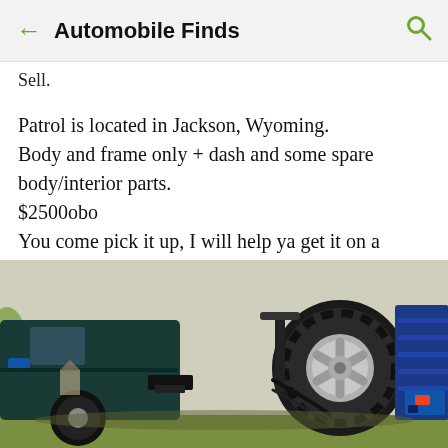Automobile Finds
Sell.
Patrol is located in Jackson, Wyoming. Body and frame only + dash and some spare body/interior parts. $2500obo You come pick it up, I will help ya get it on a trailer.
[Figure (photo): Rear view of a large off-road vehicle (Nissan Patrol) with a spare tire mounted on the back, rugged tires, and blue roof rack visible, parked outdoors.]